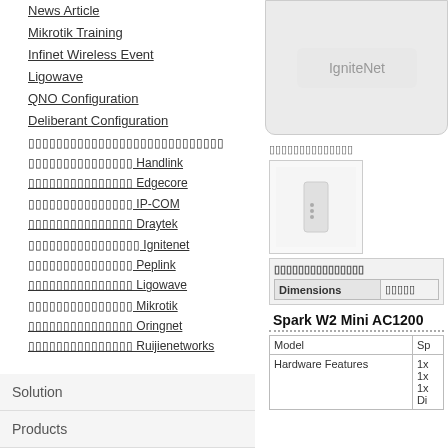News Article
Mikrotik Training
Infinet Wireless Event
Ligowave
QNO Configuration
Deliberant Configuration
[Thai text]
[Thai text] Handlink
[Thai text] Edgecore
[Thai text] IP-COM
[Thai text] Draytek
[Thai text] Ignitenet
[Thai text] Peplink
[Thai text] Ligowave
[Thai text] Mikrotik
[Thai text] Oringnet
[Thai text] Ruijienetworks
Solution
Products
[Figure (photo): IgniteNet product/logo banner image]
[Thai text section label]
[Figure (photo): Small white wireless router/access point product photo]
| Dimensions | [Thai text value] |
| --- | --- |
Spark W2 Mini AC1200
| Model | Sp |
| --- | --- |
| Hardware Features | 1x
1x
1x
Di |